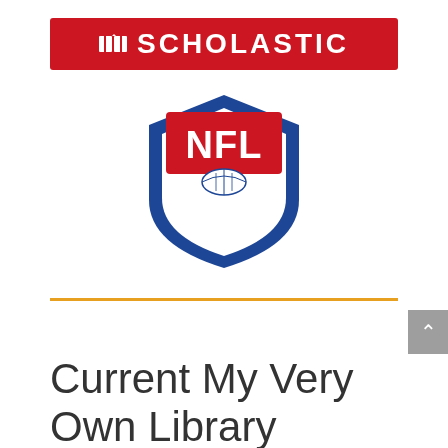[Figure (logo): Scholastic logo — red rectangular banner with white open book icon and white text SCHOLASTIC in capital letters]
[Figure (logo): NFL Alumni logo — blue shield shape with white inner shield, red NFL text, football graphic, and white ALUMNI text]
Current My Very Own Library